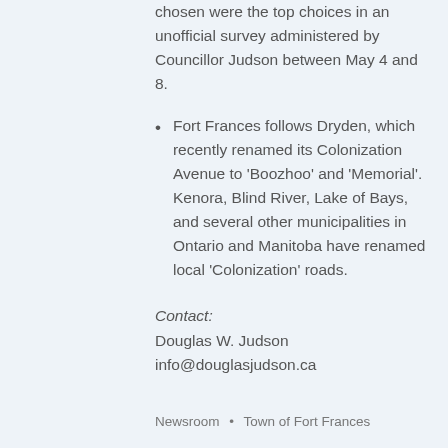chosen were the top choices in an unofficial survey administered by Councillor Judson between May 4 and 8.
Fort Frances follows Dryden, which recently renamed its Colonization Avenue to 'Boozhoo' and 'Memorial'. Kenora, Blind River, Lake of Bays, and several other municipalities in Ontario and Manitoba have renamed local 'Colonization' roads.
Contact:
Douglas W. Judson
info@douglasjudson.ca
Newsroom • Town of Fort Frances